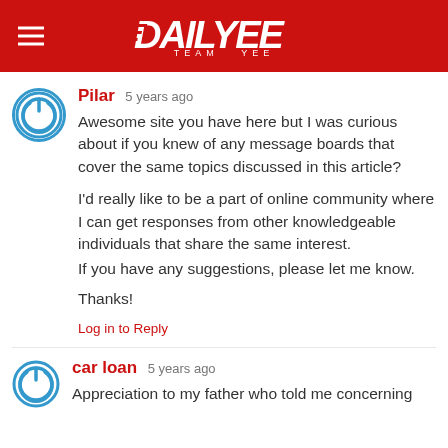DAILYEE TEAM YEE
Pilar 5 years ago
Awesome site you have here but I was curious about if you knew of any message boards that cover the same topics discussed in this article?
I'd really like to be a part of online community where I can get responses from other knowledgeable individuals that share the same interest.
If you have any suggestions, please let me know.
Thanks!
Log in to Reply
car loan 5 years ago
Appreciation to my father who told me concerning